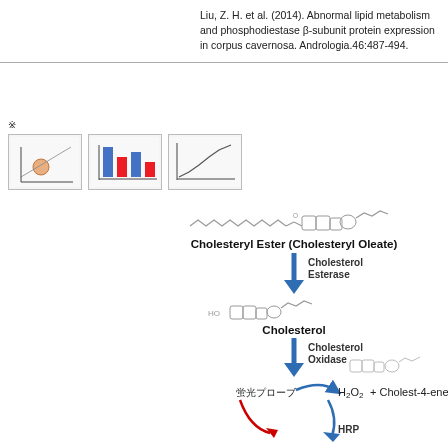Liu, Z. H. et al. (2014). Abnormal lipid metabolism and phosphodiesterase β-subunit protein expression in corpus cavernosum. Andrologia.46:487-494.
※ (Japanese notice text)
[Figure (illustration): Three thumbnail figures showing scientific charts/graphs]
[Figure (schematic): Biochemical pathway diagram showing: Cholesteryl Ester (Cholesteryl Oleate) → (Cholesterol Esterase) → Cholesterol → (Cholesterol Oxidase) → H2O2 + Cholest-4-ene-3-o... with fluorescent probe and HRP at bottom. Chemical structures shown for cholesteryl ester, cholesterol, and cholest-4-ene product.]